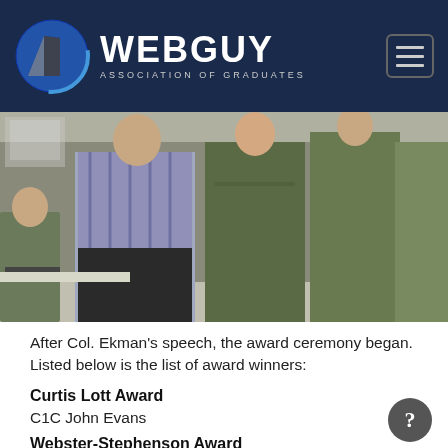[Figure (logo): WEBGUY Association of Graduates logo with circular emblem on dark navy header bar]
[Figure (photo): Group of people standing, some wearing olive green military flight suits, one person in civilian clothes with plaid shirt and dark trousers]
After Col. Ekman's speech, the award ceremony began. Listed below is the list of award winners:
Curtis Lott Award
C1C John Evans
Webster-Stephenson Award
C2C Andrew Dever
Peter Sohm Award: